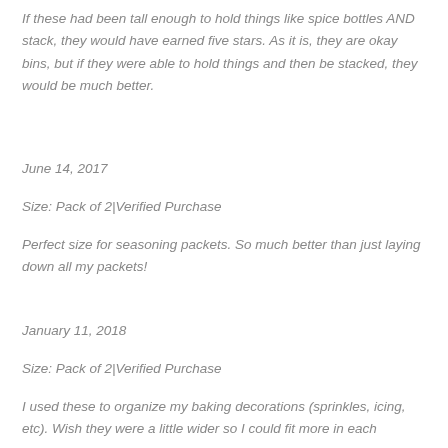If these had been tall enough to hold things like spice bottles AND stack, they would have earned five stars. As it is, they are okay bins, but if they were able to hold things and then be stacked, they would be much better.
June 14, 2017
Size: Pack of 2|Verified Purchase
Perfect size for seasoning packets. So much better than just laying down all my packets!
January 11, 2018
Size: Pack of 2|Verified Purchase
I used these to organize my baking decorations (sprinkles, icing, etc). Wish they were a little wider so I could fit more in each